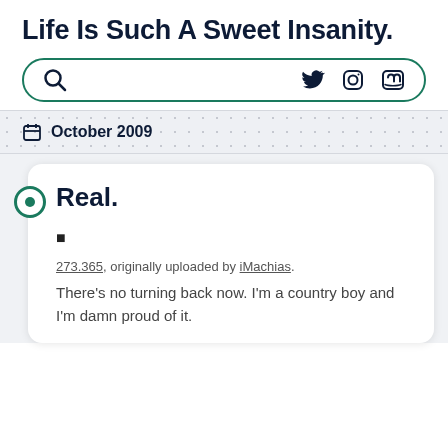Life Is Such A Sweet Insanity.
Search, Twitter, Instagram, Mastodon icons navigation bar
October 2009
Real.
▪
273.365, originally uploaded by iMachias.
There's no turning back now. I'm a country boy and I'm damn proud of it.